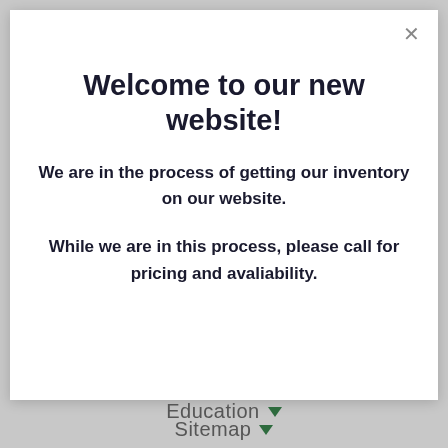Welcome to our new website!
We are in the process of getting our inventory on our website.
While we are in this process, please call for pricing and avaliability.
Education
Sitemap